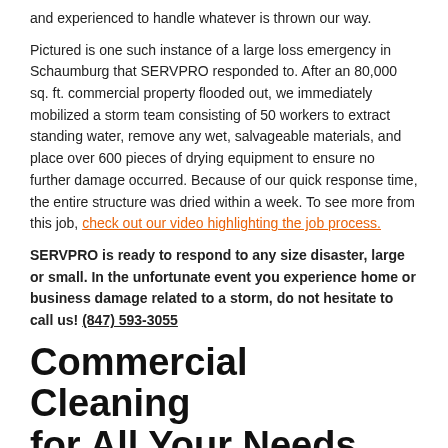and experienced to handle whatever is thrown our way.
Pictured is one such instance of a large loss emergency in Schaumburg that SERVPRO responded to. After an 80,000 sq. ft. commercial property flooded out, we immediately mobilized a storm team consisting of 50 workers to extract standing water, remove any wet, salvageable materials, and place over 600 pieces of drying equipment to ensure no further damage occurred. Because of our quick response time, the entire structure was dried within a week. To see more from this job, check out our video highlighting the job process.
SERVPRO is ready to respond to any size disaster, large or small. In the unfortunate event you experience home or business damage related to a storm, do not hesitate to call us! (847) 593-3055
Commercial Cleaning for All Your Needs
7/15/2022 (Permalink)